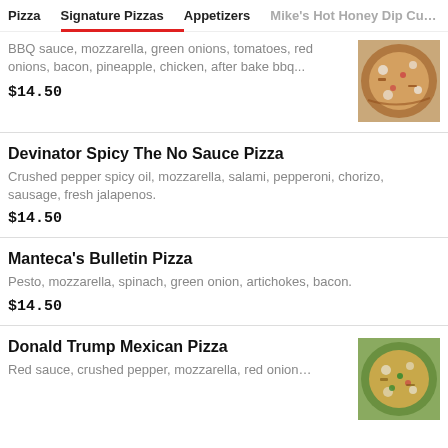Pizza | Signature Pizzas | Appetizers | Mike's Hot Honey Dip Cu…
BBQ sauce, mozzarella, green onions, tomatoes, red onions, bacon, pineapple, chicken, after bake bbq…
$14.50
Devinator Spicy The No Sauce Pizza
Crushed pepper spicy oil, mozzarella, salami, pepperoni, chorizo, sausage, fresh jalapenos.
$14.50
Manteca's Bulletin Pizza
Pesto, mozzarella, spinach, green onion, artichokes, bacon.
$14.50
Donald Trump Mexican Pizza
Red sauce, crushed pepper, mozzarella, red onion…